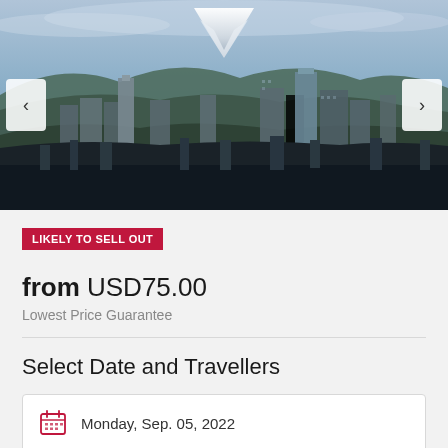[Figure (photo): Aerial cityscape of Portland, Oregon with snow-capped Mount Hood in the background, with left and right carousel navigation buttons on the sides.]
LIKELY TO SELL OUT
from USD75.00
Lowest Price Guarantee
Select Date and Travellers
Monday, Sep. 05, 2022